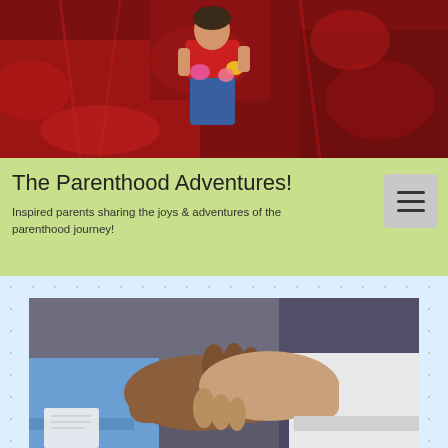[Figure (photo): Child in red flowers holding pink daisies, wearing a red top and jeans]
The Parenthood Adventures!
Inspired parents sharing the joys & adventures of the parenthood journey!
[Figure (photo): Two people shaking hands — one in a blue shirt, one in a white shirt — in an office or indoor setting]